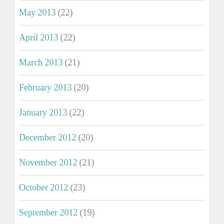May 2013 (22)
April 2013 (22)
March 2013 (21)
February 2013 (20)
January 2013 (22)
December 2012 (20)
November 2012 (21)
October 2012 (23)
September 2012 (19)
August 2012 (23)